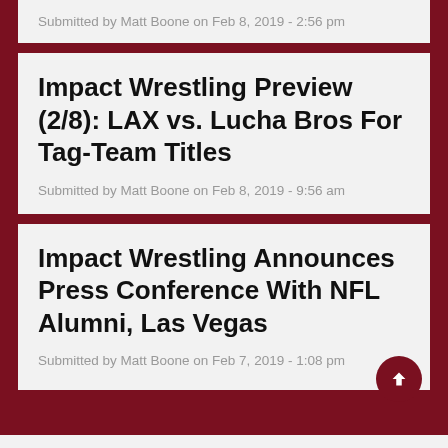Submitted by Matt Boone on Feb 8, 2019 - 2:56 pm
Impact Wrestling Preview (2/8): LAX vs. Lucha Bros For Tag-Team Titles
Submitted by Matt Boone on Feb 8, 2019 - 9:56 am
Impact Wrestling Announces Press Conference With NFL Alumni, Las Vegas
Submitted by Matt Boone on Feb 7, 2019 - 1:08 pm